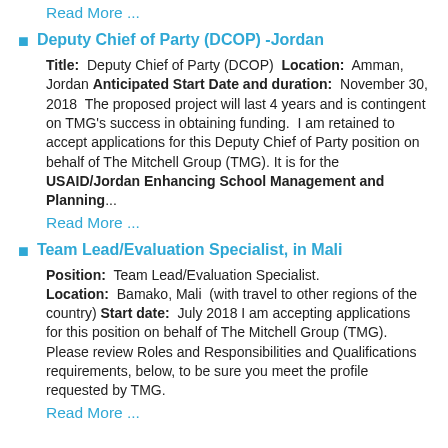Read More ...
Deputy Chief of Party (DCOP) -Jordan
Title: Deputy Chief of Party (DCOP) Location: Amman, Jordan Anticipated Start Date and duration: November 30, 2018 The proposed project will last 4 years and is contingent on TMG's success in obtaining funding. I am retained to accept applications for this Deputy Chief of Party position on behalf of The Mitchell Group (TMG). It is for the USAID/Jordan Enhancing School Management and Planning...
Read More ...
Team Lead/Evaluation Specialist, in Mali
Position: Team Lead/Evaluation Specialist. Location: Bamako, Mali (with travel to other regions of the country) Start date: July 2018 I am accepting applications for this position on behalf of The Mitchell Group (TMG). Please review Roles and Responsibilities and Qualifications requirements, below, to be sure you meet the profile requested by TMG.
Read More ...